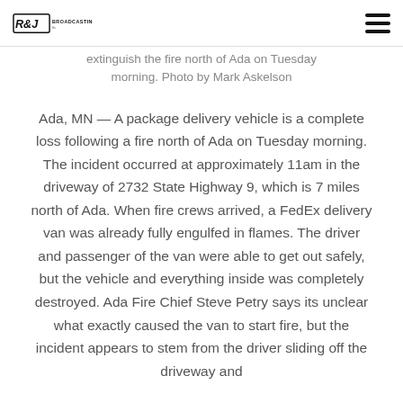R&J Broadcasting
extinguish the fire north of Ada on Tuesday morning. Photo by Mark Askelson
Ada, MN — A package delivery vehicle is a complete loss following a fire north of Ada on Tuesday morning. The incident occurred at approximately 11am in the driveway of 2732 State Highway 9, which is 7 miles north of Ada. When fire crews arrived, a FedEx delivery van was already fully engulfed in flames. The driver and passenger of the van were able to get out safely, but the vehicle and everything inside was completely destroyed. Ada Fire Chief Steve Petry says its unclear what exactly caused the van to start fire, but the incident appears to stem from the driver sliding off the driveway and